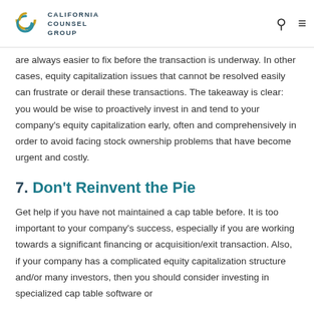CALIFORNIA COUNSEL GROUP
are always easier to fix before the transaction is underway. In other cases, equity capitalization issues that cannot be resolved easily can frustrate or derail these transactions. The takeaway is clear: you would be wise to proactively invest in and tend to your company's equity capitalization early, often and comprehensively in order to avoid facing stock ownership problems that have become urgent and costly.
7. Don't Reinvent the Pie
Get help if you have not maintained a cap table before. It is too important to your company's success, especially if you are working towards a significant financing or acquisition/exit transaction. Also, if your company has a complicated equity capitalization structure and/or many investors, then you should consider investing in specialized cap table software or